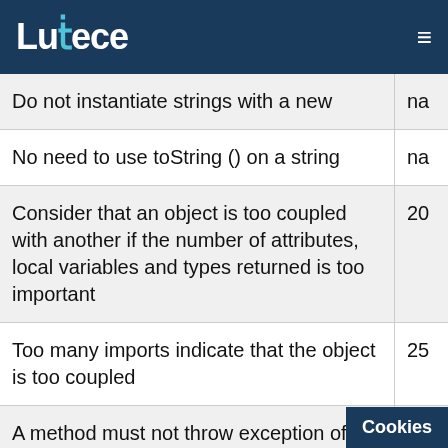Lutece
| Description | Value |
| --- | --- |
| Do not instantiate strings with a new | na |
| No need to use toString () on a string | na |
| Consider that an object is too coupled with another if the number of attributes, local variables and types returned is too important | 20 |
| Too many imports indicate that the object is too coupled | 25 |
| A method must not throw exception of type Exception | not reta |
| It is cleaner to catch each type of |  |